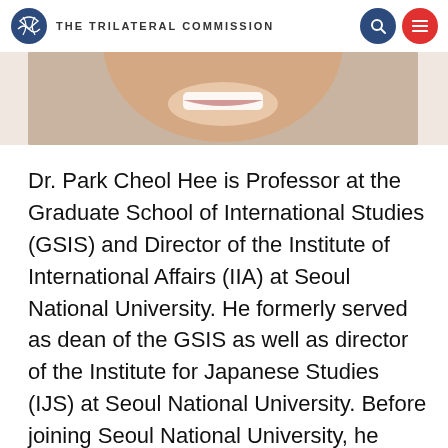THE TRILATERAL COMMISSION
[Figure (photo): Partial photo of a smiling person, cropped to show lower face/smile area against a beige/tan background]
Dr. Park Cheol Hee is Professor at the Graduate School of International Studies (GSIS) and Director of the Institute of International Affairs (IIA) at Seoul National University. He formerly served as dean of the GSIS as well as director of the Institute for Japanese Studies (IJS) at Seoul National University. Before joining Seoul National University, he taught at the National Graduate Institute for Policy Studies in Japan and the Institute for Foreign Affairs and National Security under the Korean Foreign Ministry. He